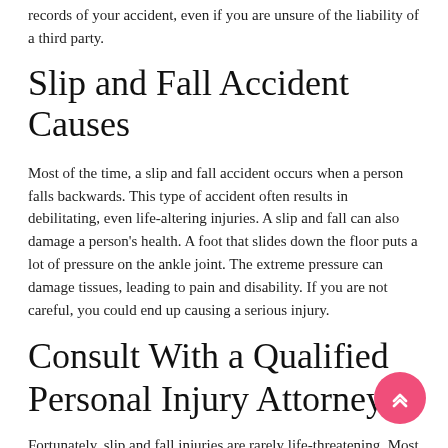records of your accident, even if you are unsure of the liability of a third party.
Slip and Fall Accident Causes
Most of the time, a slip and fall accident occurs when a person falls backwards. This type of accident often results in debilitating, even life-altering injuries. A slip and fall can also damage a person's health. A foot that slides down the floor puts a lot of pressure on the ankle joint. The extreme pressure can damage tissues, leading to pain and disability. If you are not careful, you could end up causing a serious injury.
Consult With a Qualified Personal Injury Attorney
Fortunately, slip and fall injuries are rarely life-threatening. Most of the time, injuries are minor sprains or dislocations.